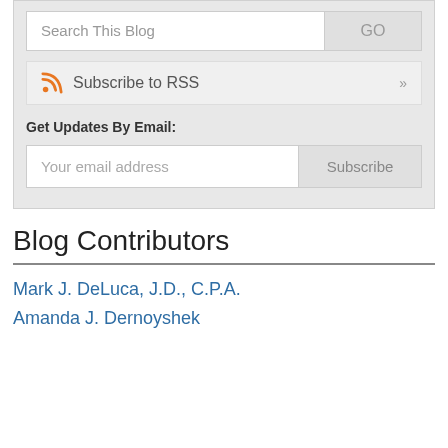[Figure (screenshot): Search This Blog input field with GO button]
[Figure (screenshot): Subscribe to RSS row with RSS icon and arrow]
Get Updates By Email:
[Figure (screenshot): Email address input field with Subscribe button]
Blog Contributors
Mark J. DeLuca, J.D., C.P.A.
Amanda J. Dernoyshek